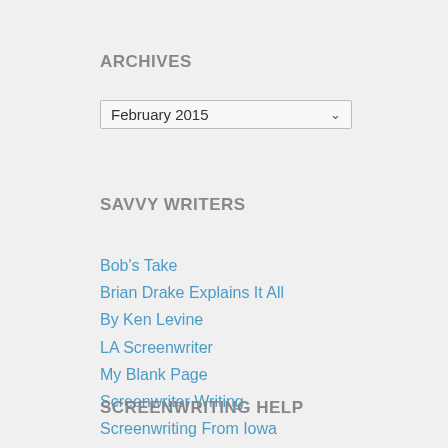ARCHIVES
February 2015
SAVVY WRITERS
Bob's Take
Brian Drake Explains It All
By Ken Levine
LA Screenwriter
My Blank Page
Screenwriter Writing
Screenwriting From Iowa
Scriptshadow
Sex in a Sub
Stories by Phil
The Bitter Script Reader
SCREENWRITING HELP